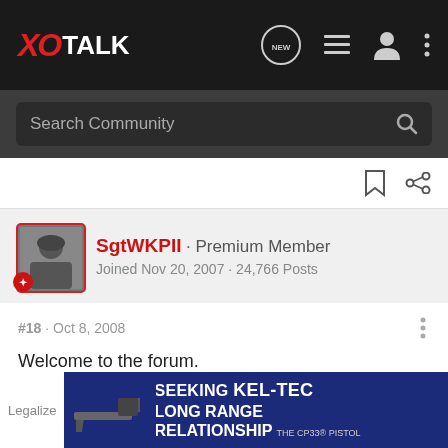XOTALK
Search Community
SgtWKPII · Premium Member
Joined Nov 20, 2007 · 24,766 Posts
#18 · Oct 8, 2008
Welcome to the forum.
[Figure (photo): Advertisement banner: KEL-TEC CP33 pistol - SEEKING LONG RANGE RELATIONSHIP]
Legalize